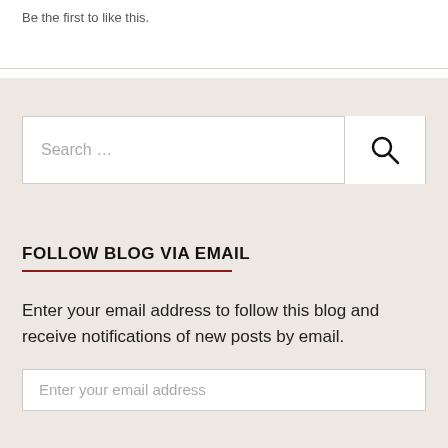Be the first to like this.
Search …
FOLLOW BLOG VIA EMAIL
Enter your email address to follow this blog and receive notifications of new posts by email.
Enter your email address